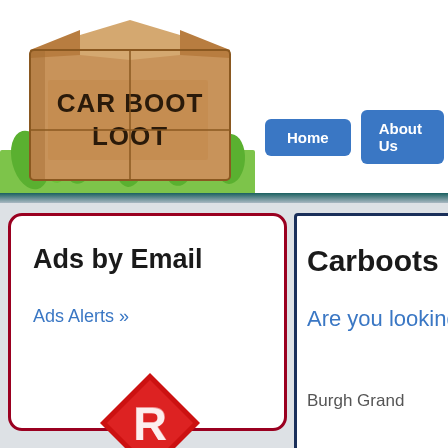[Figure (logo): Car Boot Loot logo: cardboard box with 'CAR BOOT LOOT' text sitting on green grass]
[Figure (screenshot): Navigation buttons: Home, About Us, and a partially visible third button]
Ads by Email
Ads Alerts »
Carboots in
Are you looking
Burgh Grand
[Figure (logo): Red diamond shape with letter R inside]